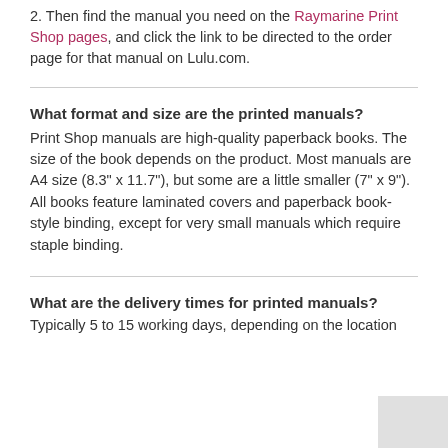2. Then find the manual you need on the Raymarine Print Shop pages, and click the link to be directed to the order page for that manual on Lulu.com.
What format and size are the printed manuals?
Print Shop manuals are high-quality paperback books. The size of the book depends on the product. Most manuals are A4 size (8.3" x 11.7"), but some are a little smaller (7" x 9"). All books feature laminated covers and paperback book-style binding, except for very small manuals which require staple binding.
What are the delivery times for printed manuals?
Typically 5 to 15 working days, depending on the location